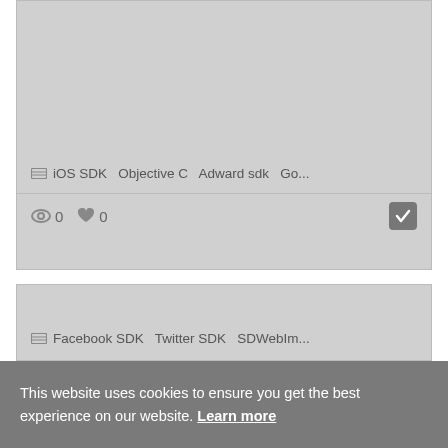[Figure (screenshot): Top card with gray image area showing tags: iOS SDK, Objective C, Adward sdk, Go... and meta icons with counts 0 0 and a checkmark button]
iOS SDK   Objective C   Adward sdk   Go...
0   0
[Figure (screenshot): Bottom card with large gray image area showing tags: Facebook SDK   Twitter SDK   SDWebIm...]
Facebook SDK   Twitter SDK   SDWebIm...
This website uses cookies to ensure you get the best experience on our website. Learn more